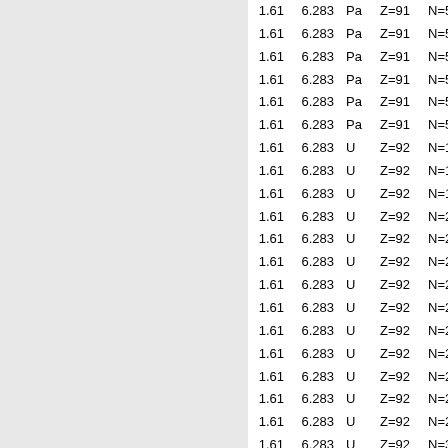| col1 | col2 | col3 | col4 | col5 |
| --- | --- | --- | --- | --- |
| 1.61 | 6.283 | Pa | Z=91 | N=5 |
| 1.61 | 6.283 | Pa | Z=91 | N=5 |
| 1.61 | 6.283 | Pa | Z=91 | N=5 |
| 1.61 | 6.283 | Pa | Z=91 | N=5 |
| 1.61 | 6.283 | Pa | Z=91 | N=5 |
| 1.61 | 6.283 | Pa | Z=91 | N=5 |
| 1.61 | 6.283 | U | Z=92 | N=1 |
| 1.61 | 6.283 | U | Z=92 | N=1 |
| 1.61 | 6.283 | U | Z=92 | N=1 |
| 1.61 | 6.283 | U | Z=92 | N=2 |
| 1.61 | 6.283 | U | Z=92 | N=2 |
| 1.61 | 6.283 | U | Z=92 | N=2 |
| 1.61 | 6.283 | U | Z=92 | N=2 |
| 1.61 | 6.283 | U | Z=92 | N=2 |
| 1.61 | 6.283 | U | Z=92 | N=2 |
| 1.61 | 6.283 | U | Z=92 | N=2 |
| 1.61 | 6.283 | U | Z=92 | N=2 |
| 1.61 | 6.283 | U | Z=92 | N=2 |
| 1.61 | 6.283 | U | Z=92 | N=2 |
| 1.61 | 6.283 | U | Z=92 | N=3 |
| 1.61 | 6.283 | U | Z=92 | N=3 |
| 1.61 | 6.283 | U | Z=92 | N=3 |
| 1.61 | 6.283 | U | Z=92 | N=3 |
| 1.61 | 6.283 | U | Z=92 | N=3 |
| 1.61 | 6.283 | U | Z=92 | N=3 |